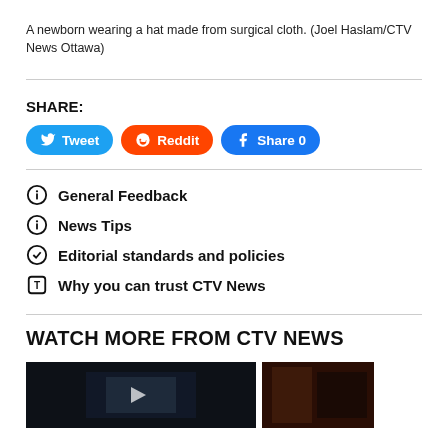A newborn wearing a hat made from surgical cloth. (Joel Haslam/CTV News Ottawa)
SHARE:
[Figure (screenshot): Social share buttons: Tweet (blue, Twitter), Reddit (orange, Reddit), Share 0 (blue, Facebook)]
General Feedback
News Tips
Editorial standards and policies
Why you can trust CTV News
WATCH MORE FROM CTV NEWS
[Figure (screenshot): Two video thumbnail images side by side at the bottom of the page]